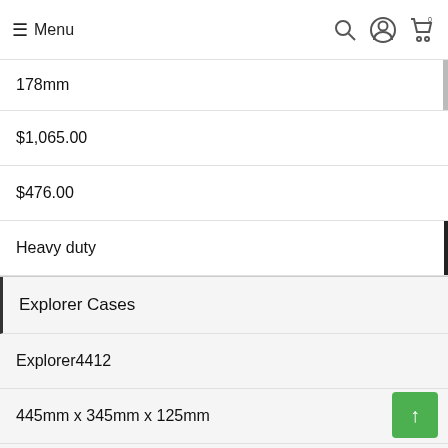Menu
178mm
$1,065.00
$476.00
Heavy duty
Explorer Cases
Explorer4412
445mm x 345mm x 125mm
78mm